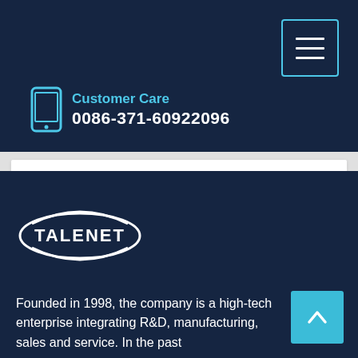Customer Care
0086-371-60922096
Learn More
[Figure (logo): TALENET company logo — white elliptical swoosh with bold white TALENET text]
Founded in 1998, the company is a high-tech enterprise integrating R&D, manufacturing, sales and service. In the past